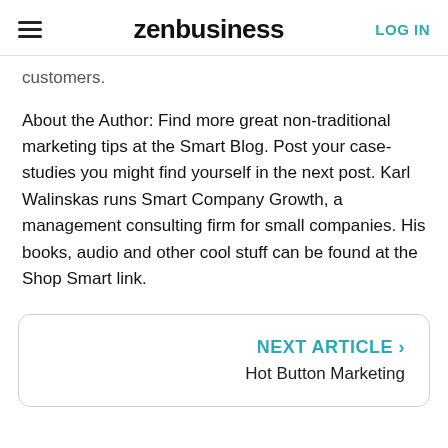zenbusiness | LOG IN
customers.
About the Author: Find more great non-traditional marketing tips at the Smart Blog. Post your case-studies you might find yourself in the next post. Karl Walinskas runs Smart Company Growth, a management consulting firm for small companies. His books, audio and other cool stuff can be found at the Shop Smart link.
NEXT ARTICLE › Hot Button Marketing